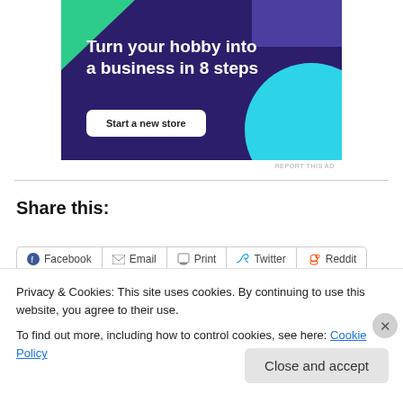[Figure (illustration): Advertisement banner with dark purple background, green triangle top-left, cyan circle bottom-right, bold white text 'Turn your hobby into a business in 8 steps', and a white 'Start a new store' button.]
REPORT THIS AD
Share this:
Facebook  Email  Print  Twitter  Reddit
Privacy & Cookies: This site uses cookies. By continuing to use this website, you agree to their use.
To find out more, including how to control cookies, see here: Cookie Policy
Close and accept